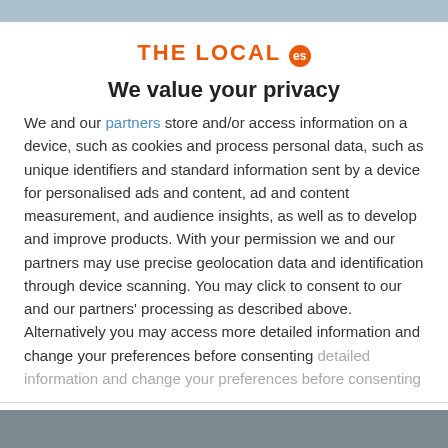[Figure (logo): THE LOCAL es logo — orange bold text with orange circle badge containing 'es']
We value your privacy
We and our partners store and/or access information on a device, such as cookies and process personal data, such as unique identifiers and standard information sent by a device for personalised ads and content, ad and content measurement, and audience insights, as well as to develop and improve products. With your permission we and our partners may use precise geolocation data and identification through device scanning. You may click to consent to our and our partners' processing as described above. Alternatively you may access more detailed information and change your preferences before consenting
ACCEPT
MORE OPTIONS